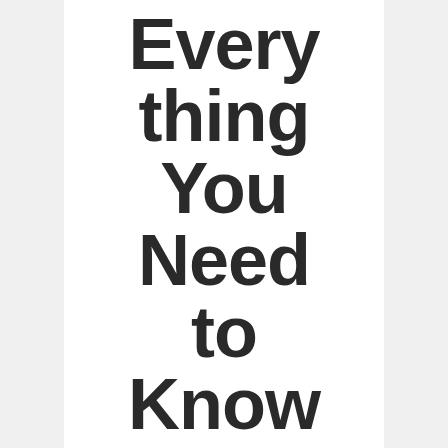Every thing You Need to Know
MARCH 3, 2021
ADMIN
BLOG, POST FORMAT
0